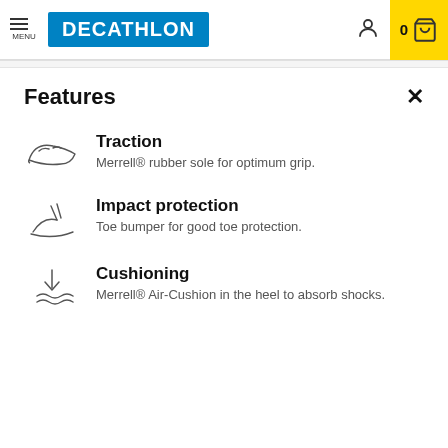MENU | DECATHLON | 0 (cart)
Features
Traction — Merrell® rubber sole for optimum grip.
Impact protection — Toe bumper for good toe protection.
Cushioning — Merrell® Air-Cushion in the heel to absorb shocks.